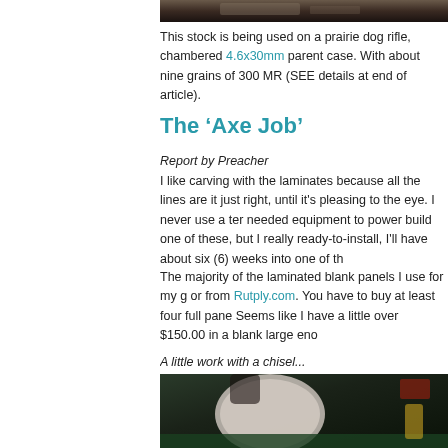[Figure (photo): Top portion of a rifle or gun stock, partially visible at top of content area]
This stock is being used on a prairie dog rifle, chambered 4.6x30mm parent case. With about nine grains of 300 MR (SEE details at end of article).
The ‘Axe Job’
Report by Preacher
I like carving with the laminates because all the lines are it just right, until it's pleasing to the eye. I never use a ter needed equipment to power build one of these, but I really ready-to-install, I'll have about six (6) weeks into one of th
The majority of the laminated blank panels I use for my g or from Rutply.com. You have to buy at least four full pane Seems like I have a little over $150.00 in a blank large eno
A little work with a chisel...
[Figure (photo): Dark workshop photo showing what appears to be a person working with wood/chisel, partially visible at bottom of page]